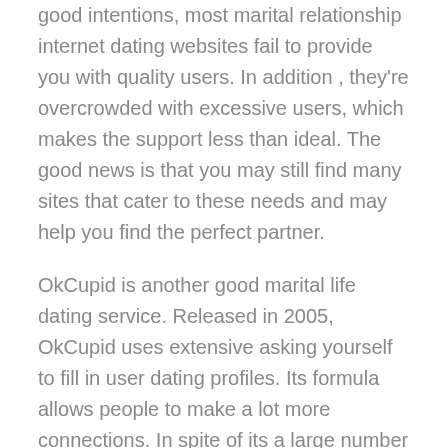good intentions, most marital relationship internet dating websites fail to provide you with quality users. In addition , they're overcrowded with excessive users, which makes the support less than ideal. The good news is that you may still find many sites that cater to these needs and may help you find the perfect partner.
OkCupid is another good marital life dating service. Released in 2005, OkCupid uses extensive asking yourself to fill in user dating profiles. Its formula allows people to make a lot more connections. In spite of its a large number of advantages, users should still be aware of the disadvantages. Since the sites do not let you to meet up with people in person, it's hard to tell which members are serious about relationship. You can simply contact the ones that interest you. That way, you may